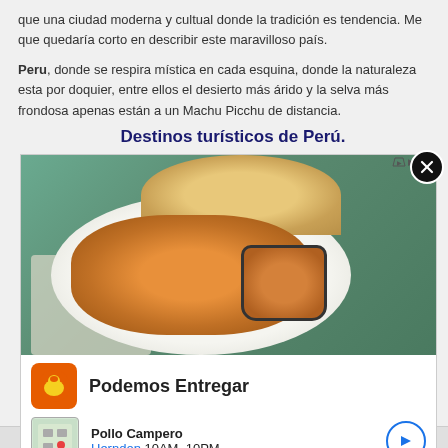que una ciudad moderna y cultual donde la tradición es tendencia. Me que quedaría corto en describir este maravilloso país.
Peru, donde se respira mística en cada esquina, donde la naturaleza esta por doquier, entre ellos el desierto más árido y la selva más frondosa apenas están a un Machu Picchu de distancia.
Destinos turísticos de Perú.
[Figure (photo): Advertisement showing fried chicken nuggets on a white plate with dipping sauce and bread rolls on a teal wooden table background. Below the food photo: Pollo Campero advertisement with logo, 'Podemos Entregar' headline, location 'Herndon 10AM-10PM', and a navigation arrow button.]